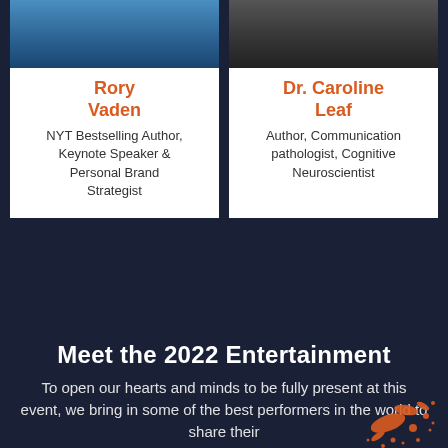[Figure (photo): Photo of Rory Vaden (partially visible, top cropped)]
Rory Vaden
NYT Bestselling Author, Keynote Speaker & Personal Brand Strategist
[Figure (photo): Photo of Dr. Caroline Leaf (partially visible, top cropped)]
Dr. Caroline Leaf
Author, Communication pathologist, Cognitive Neuroscientist
Meet the 2022 Entertainment
To open our hearts and minds to be fully present at this event, we bring in some of the best performers in the world to share their